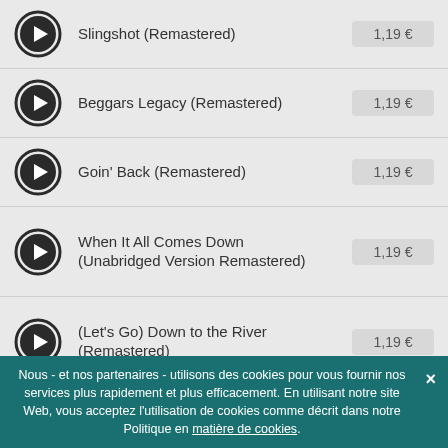Slingshot (Remastered) — 1,19 €
Beggars Legacy (Remastered) — 1,19 €
Goin' Back (Remastered) — 1,19 €
When It All Comes Down (Unabridged Version Remastered) — 1,19 €
(Let's Go) Down to the River (Remastered) — 1,19 €
Cold Turkey (Remastered) — 1,19 €
Nous - et nos partenaires - utilisons des cookies pour vous fournir nos services plus rapidement et plus efficacement. En utilisant notre site Web, vous acceptez l'utilisation de cookies comme décrit dans notre Politique en matière de cookies.